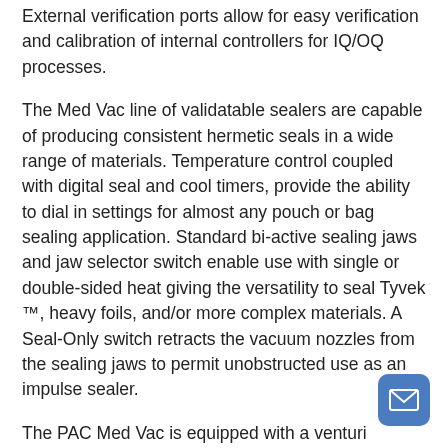External verification ports allow for easy verification and calibration of internal controllers for IQ/OQ processes.
The Med Vac line of validatable sealers are capable of producing consistent hermetic seals in a wide range of materials. Temperature control coupled with digital seal and cool timers, provide the ability to dial in settings for almost any pouch or bag sealing application. Standard bi-active sealing jaws and jaw selector switch enable use with single or double-sided heat giving the versatility to seal Tyvek ™, heavy foils, and/or more complex materials. A Seal-Only switch retracts the vacuum nozzles from the sealing jaws to permit unobstructed use as an impulse sealer.
The PAC Med Vac is equipped with a venturi vacuum pump with 10.2 cubic feet per minute of flow to provide fast, efficient removal of air from most packages. A 1/4 hp electric vacuum pump is available in place of a venturi style or an optional 3/4 hp electric pump for more demanding applications. Digital timers allow for precise